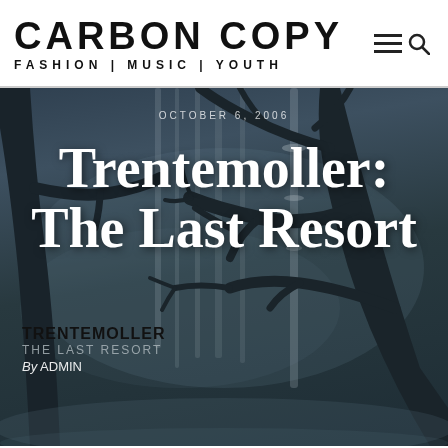CARBON COPY — FASHION | MUSIC | YOUTH
[Figure (photo): Dark atmospheric forest scene with bare tree branches silhouetted against a misty grey-blue background. An album cover for Trentemoller The Last Resort is partially visible in the lower left.]
OCTOBER 6, 2006
Trentemoller: The Last Resort
TRENTEMOLLER THE LAST RESORT  By ADMIN